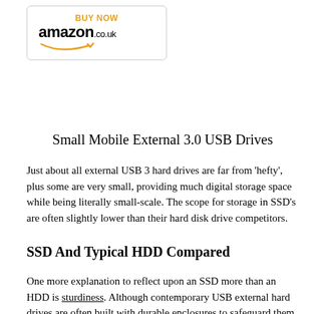[Figure (logo): Amazon.co.uk 'BUY NOW' button with Amazon logo and smile arrow]
Small Mobile External 3.0 USB Drives
Just about all external USB 3 hard drives are far from 'hefty', plus some are very small, providing much digital storage space while being literally small-scale. The scope for storage in SSD's are often slightly lower than their hard disk drive competitors.
SSD And Typical HDD Compared
One more explanation to reflect upon an SSD more than an HDD is sturdiness. Although contemporary USB external hard drives are often built with durable enclosures to safeguard them from destruction should they be bumped, but the two solutions have diverse